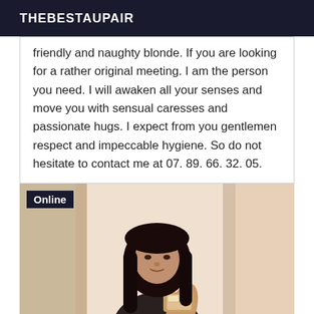THEBESTAUPAIR
friendly and naughty blonde. If you are looking for a rather original meeting. I am the person you need. I will awaken all your senses and move you with sensual caresses and passionate hugs. I expect from you gentlemen respect and impeccable hygiene. So do not hesitate to contact me at 07. 89. 66. 32. 05.
[Figure (photo): Woman taking a mirror selfie with a phone, long dark hair, dark top, bathroom/room setting with mirror and door frame visible. 'Online' badge in top-left corner.]